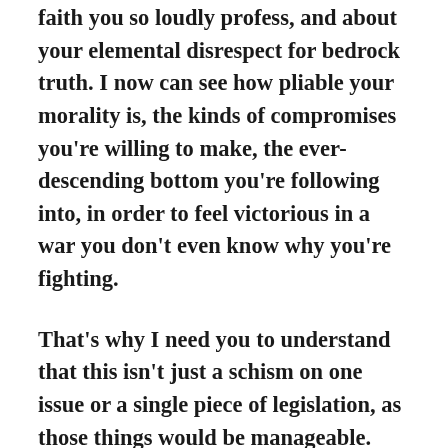faith you so loudly profess, and about your elemental disrespect for bedrock truth. I now can see how pliable your morality is, the kinds of compromises you're willing to make, the ever-descending bottom you're following into, in order to feel victorious in a war you don't even know why you're fighting.
That's why I need you to understand that this isn't just a schism on one issue or a single piece of legislation, as those things would be manageable. This isn't a matter of politics or preference. This is a pervasive, sprawling, saturating separation about the way we see the world and what we value and how we want to